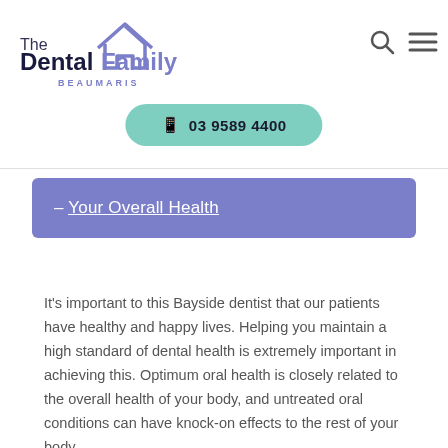[Figure (logo): The Dental Family Beaumaris logo with house icon]
[Figure (other): Search icon and hamburger menu icon in top right]
03 9589 4400
— Your Overall Health
It's important to this Bayside dentist that our patients have healthy and happy lives. Helping you maintain a high standard of dental health is extremely important in achieving this. Optimum oral health is closely related to the overall health of your body, and untreated oral conditions can have knock-on effects to the rest of your body.